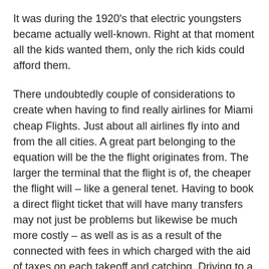It was during the 1920's that electric youngsters became actually well-known. Right at that moment all the kids wanted them, only the rich kids could afford them.
There undoubtedly couple of considerations to create when having to find really airlines for Miami cheap Flights. Just about all airlines fly into and from the all cities. A great part belonging to the equation will be the the flight originates from. The larger the terminal that the flight is of, the cheaper the flight will – like a general tenet. Having to book a direct flight ticket that will have many transfers may not just be problems but likewise be much more costly – as well as is as a result of the connected with fees in which charged with the aid of taxes on each takeoff and catching. Driving to a larger hub may solve earning.
You will not have your flights on replacing ticket so keep that in thought processes. This means you must retrieve your checked luggage and re-check it in. bonito mt 're not going